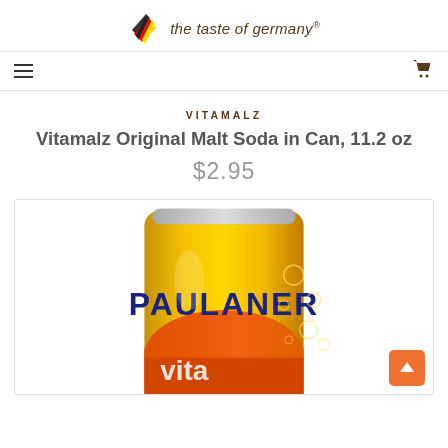the taste of germany®
VITAMALZ
Vitamalz Original Malt Soda in Can, 11.2 oz
$2.95
[Figure (photo): A yellow/orange Paulaner Vitamalz malt soda can with the PAULANER brand name prominently displayed in dark blue lettering, with bubble decorations on the can.]